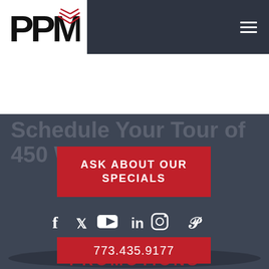[Figure (logo): PPM logo with bold black letters P P M and red chevron/arrow symbol above the M]
[Figure (other): Hamburger menu icon (three horizontal white lines) on dark navy background]
Schedule Your Tour of 450 W. Monroe
ASK ABOUT OUR SPECIALS
[Figure (other): Social media icons: Facebook, Twitter, YouTube, LinkedIn, Instagram, Pinterest]
773.435.9177
CURRENT PROMOTIONS